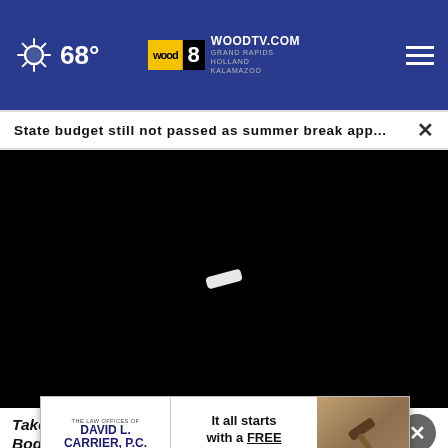68° WOODTV.COM WOOD 8 GRAND RAPIDS HOLLAND KALAMAZOO
State budget still not passed as summer break app...
[Figure (screenshot): Black video player area with loading indicator (white pill shape) in center]
Take 1 Cup Daily, Watch How Quickly Your Body Loses Weight
[Figure (other): Advertisement for The Law Offices of David L. Carrier P.C. — It all starts with a FREE Lifeplan Workshop, with gavel/legal image on right]